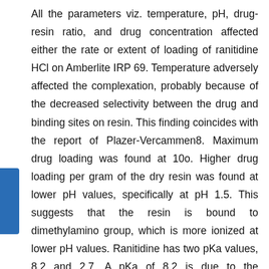All the parameters viz. temperature, pH, drug-resin ratio, and drug concentration affected either the rate or extent of loading of ranitidine HCl on Amberlite IRP 69. Temperature adversely affected the complexation, probably because of the decreased selectivity between the drug and binding sites on resin. This finding coincides with the report of Plazer-Vercammen8. Maximum drug loading was found at 10o. Higher drug loading per gram of the dry resin was found at lower pH values, specifically at pH 1.5. This suggests that the resin is bound to dimethylamino group, which is more ionized at lower pH values. Ranitidine has two pKa values, 8.2 and 2.7. A pKa of 8.2 is due to the dimethylamino group, which is expected to ionize at lower pH values.